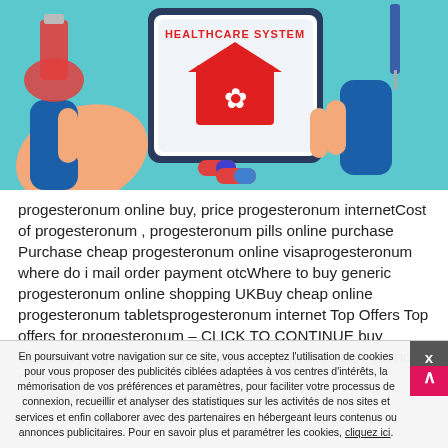[Figure (illustration): Healthcare system illustration showing two hands holding a tablet with a Canadian maple leaf healthcare app, a red flask/beaker on the left, and red-blue capsule pills at the bottom center. Text 'HEALTHCARE SYSTEM' at top of tablet. Light blue background.]
progesteronum online buy, price progesteronum internetCost of progesteronum , progesteronum pills online purchase Purchase cheap progesteronum online visaprogesteronum where do i mail order payment otcWhere to buy generic progesteronum online shopping UKBuy cheap online progesteronum tabletspro gesteronum internet Top Offers Top offers for progesteronum – CLICK TO CONTINUE buy discount progesteronum progesteronum where can i get now online visa
En poursuivant votre navigation sur ce site, vous acceptez l'utilisation de cookies pour vous proposer des publicités ciblées adaptées à vos centres d'intérêts, la mémorisation de vos préférences et paramètres, pour faciliter votre processus de connexion, recueillir et analyser des statistiques sur les activités de nos sites et services et enfin collaborer avec des partenaires en hébergeant leurs contenus ou annonces publicitaires. Pour en savoir plus et paramétrer les cookies, cliquez ici.